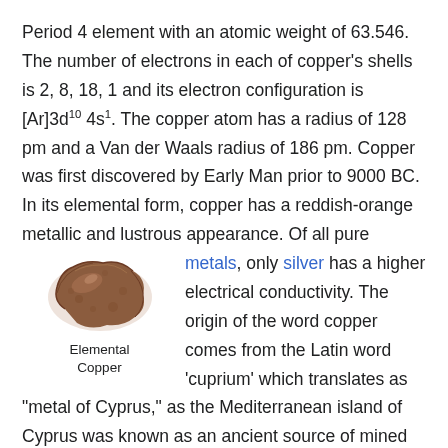Period 4 element with an atomic weight of 63.546. The number of electrons in each of copper's shells is 2, 8, 18, 1 and its electron configuration is [Ar]3d10 4s1. The copper atom has a radius of 128 pm and a Van der Waals radius of 186 pm. Copper was first discovered by Early Man prior to 9000 BC. In its elemental form, copper has a reddish-orange metallic and lustrous appearance. Of all pure metals, only silver has a higher electrical conductivity. The origin of the word copper comes from the Latin word 'cuprium' which translates as "metal of Cyprus," as the Mediterranean island of Cyprus was known as an ancient source of mined copper..
[Figure (photo): A rough reddish-brown rock/nugget of elemental copper, with caption 'Elemental Copper' below it.]
Elemental Copper